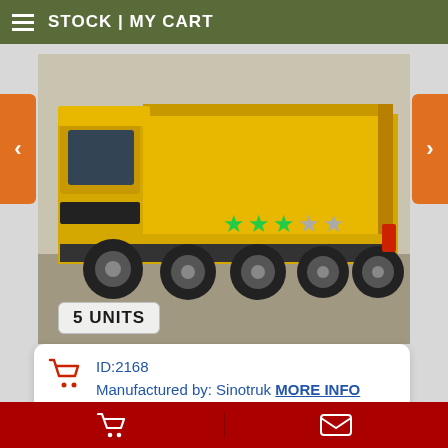STOCK | MY CART
[Figure (photo): Yellow Sinotruk dump truck, large vehicle on a paved surface, 3-star rating overlay, '5 UNITS' badge in bottom-left corner of photo]
ID:2168
Manufactured by: Sinotruk MORE INFO
NEW MACHINERY® THE BEST OFFERS
HWC-35A ALL-TERRAIN FORKLIFT
cart | envelope